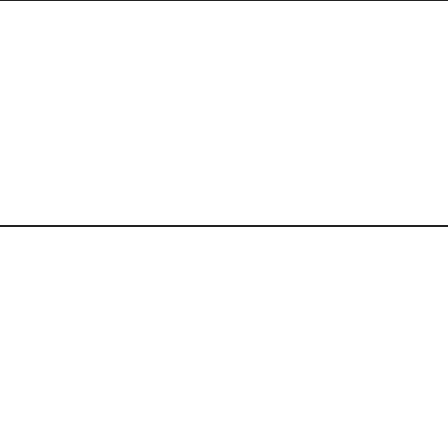[Figure (other): Empty left cell of top row, part of a table layout with image placeholder]
balls chosen on each trial. theoretical and observed μ and σ are displayed beneath the histogram, numerical probabilities and observed proportions for each result are also give
[Figure (other): Empty left cell of bottom row, part of a table layout with image placeholder]
In an election, candidate A receives 60% and candidate B receives 40% where a = The vo assumed